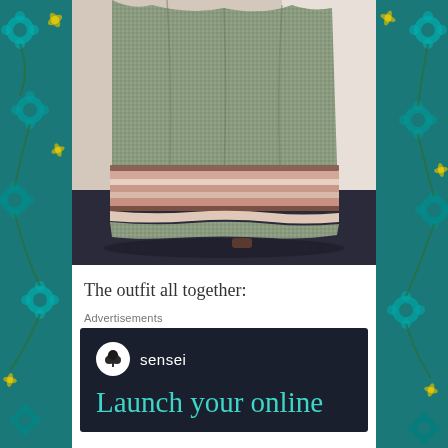[Figure (photo): Photo of the lower half of a garment — a gathered skirt in a subtle green/grey woven fabric with horizontal stripe trim at the hem in pink/cream and brown tones, displayed against a wall with a dark floor.]
The outfit all together:
Advertisements
[Figure (other): Advertisement for Sensei with dark navy background. Shows Sensei logo (tree icon in white circle) and brand name 'sensei', followed by large teal text beginning 'Launch your online']